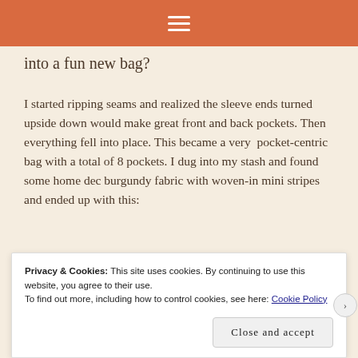≡
into a fun new bag?
I started ripping seams and realized the sleeve ends turned upside down would make great front and back pockets. Then everything fell into place. This became a very  pocket-centric bag with a total of 8 pockets. I dug into my stash and found some home dec burgundy fabric with woven-in mini stripes and ended up with this:
[Figure (photo): Partial photo of a person holding or wearing a bag, showing the top portion of the image with a light background]
Privacy & Cookies: This site uses cookies. By continuing to use this website, you agree to their use.
To find out more, including how to control cookies, see here: Cookie Policy
Close and accept